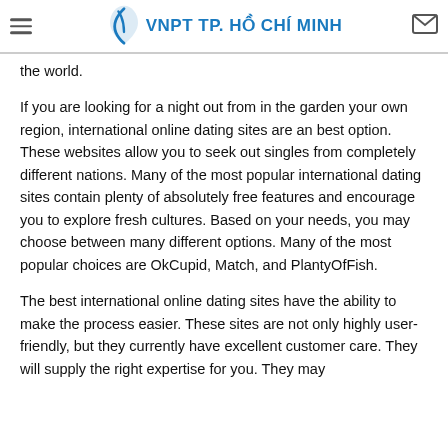VNPT TP. HỒ CHÍ MINH
the world.
If you are looking for a night out from in the garden your own region, international online dating sites are an best option. These websites allow you to seek out singles from completely different nations. Many of the most popular international dating sites contain plenty of absolutely free features and encourage you to explore fresh cultures. Based on your needs, you may choose between many different options. Many of the most popular choices are OkCupid, Match, and PlantyOfFish.
The best international online dating sites have the ability to make the process easier. These sites are not only highly user-friendly, but they currently have excellent customer care. They will supply the right expertise for you. They may